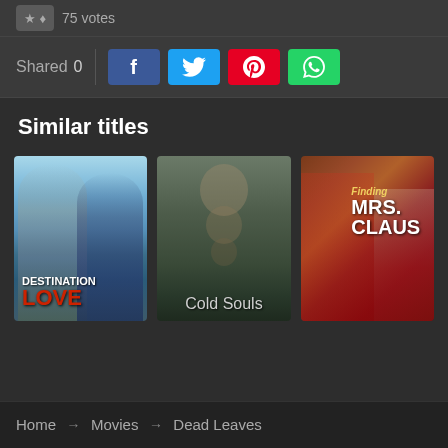75 votes
Shared 0
Similar titles
[Figure (photo): Movie poster for Destination Love showing a couple outdoors with text DESTINATION LOVE]
[Figure (photo): Movie poster for Cold Souls showing a man with a surreal stacked image effect and text Cold Souls at bottom]
[Figure (photo): Movie poster for Finding Mrs. Claus showing Santa and Mrs. Claus with text Finding MRS. CLAUS]
Home → Movies → Dead Leaves